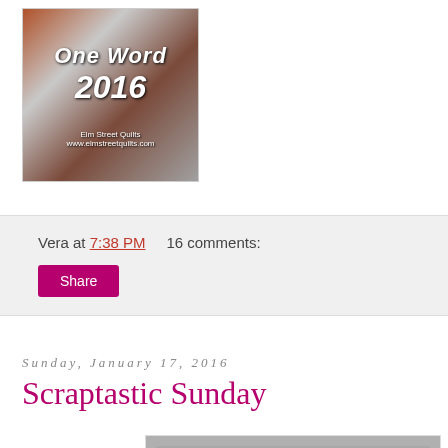[Figure (photo): Blog banner image showing 'One Word 2016' text over a quilt background, with Elm Street Quilts branding at the bottom]
Vera at 7:38 PM    16 comments:
Share
Sunday, January 17, 2016
Scraptastic Sunday
[Figure (photo): A quilted wall hanging on gray background featuring overlapping colored circles (red, yellow, blue) in a Venn diagram style with a dark Darth Vader appliqué in the center]